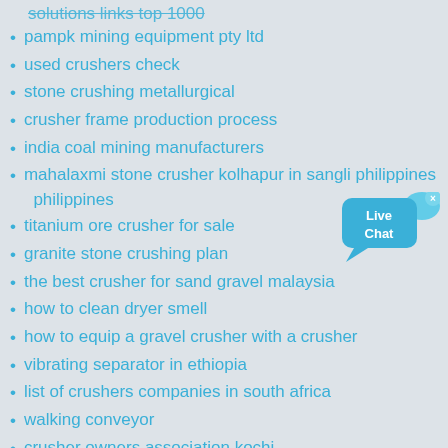solutions links top 1000 (truncated/partial at top)
pampk mining equipment pty ltd
used crushers check
stone crushing metallurgical
crusher frame production process
india coal mining manufacturers
mahalaxmi stone crusher kolhapur in sangli philippines philippines
titanium ore crusher for sale
granite stone crushing plan
the best crusher for sand gravel malaysia
how to clean dryer smell
how to equip a gravel crusher with a crusher
vibrating separator in ethiopia
list of crushers companies in south africa
walking conveyor
crusher owners association kochi
gray green rock counter crushing machinery
dimension stone view
used crusher com
[Figure (illustration): Live Chat widget — blue speech bubble with 'Live Chat' text, a fin/ear shape to the right, and a close (x) button in the top right corner]